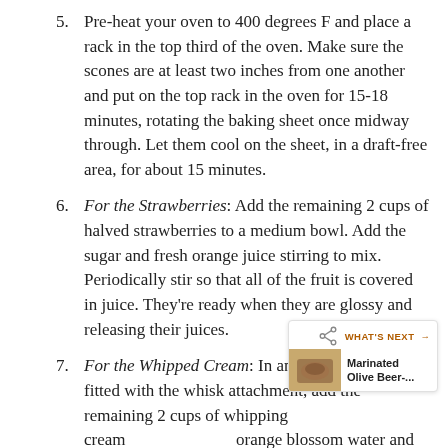5. Pre-heat your oven to 400 degrees F and place a rack in the top third of the oven. Make sure the scones are at least two inches from one another and put on the top rack in the oven for 15-18 minutes, rotating the baking sheet once midway through. Let them cool on the sheet, in a draft-free area, for about 15 minutes.
6. For the Strawberries: Add the remaining 2 cups of halved strawberries to a medium bowl. Add the sugar and fresh orange juice stirring to mix. Periodically stir so that all of the fruit is covered in juice. They're ready when they are glossy and releasing their juices.
7. For the Whipped Cream: In an electric mixer fitted with the whisk attachment, add the remaining 2 cups of whipping cream, orange blossom water and beat on ... soft peaks form.
[Figure (other): A 'WHAT'S NEXT' overlay panel with a share icon and a thumbnail image labeled 'Marinated Olive Beer-...']